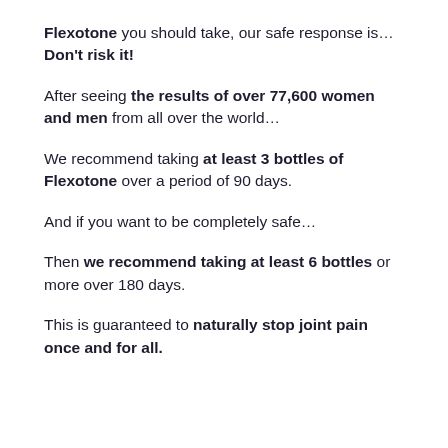Flexotone you should take, our safe response is... Don't risk it!
After seeing the results of over 77,600 women and men from all over the world...
We recommend taking at least 3 bottles of Flexotone over a period of 90 days.
And if you want to be completely safe...
Then we recommend taking at least 6 bottles or more over 180 days.
This is guaranteed to naturally stop joint pain once and for all.